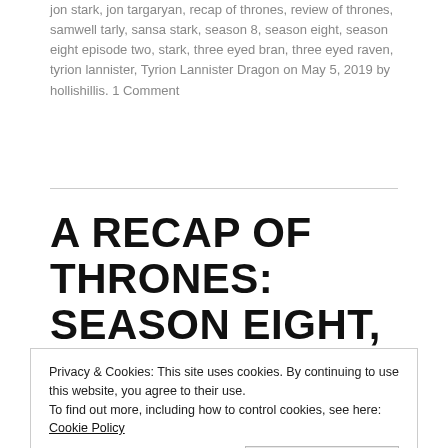jon stark, jon targaryan, recap of thrones, review of thrones, samwell tarly, sansa stark, season 8, season eight, season eight episode two, stark, three eyed bran, three eyed raven, tyrion lannister, Tyrion Lannister Dragon on May 5, 2019 by hollishillis. 1 Comment
A RECAP OF THRONES: SEASON EIGHT, EPISODE THREE: HOLY
Privacy & Cookies: This site uses cookies. By continuing to use this website, you agree to their use.
To find out more, including how to control cookies, see here: Cookie Policy
Close and accept